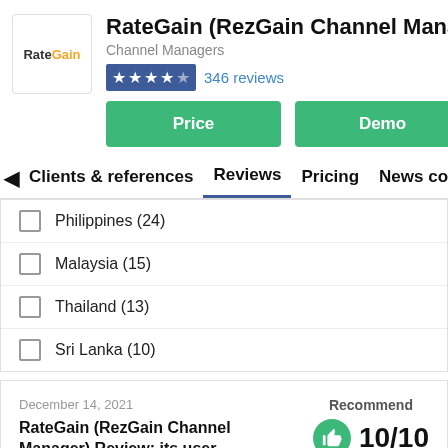[Figure (logo): RateGain logo in a white box with orange 'Gain' text]
RateGain (RezGain Channel Manager)
Channel Managers
[Figure (infographic): 4.5 star rating with blue background stars]
346 reviews
Price
Demo
Clients & references  Reviews  Pricing  News cover
Philippines (24)
Malaysia (15)
Thailand (13)
Sri Lanka (10)
December 14, 2021
RateGain (RezGain Channel Manager) Review: its user friendly
FOM from Resorts in Mussoorie (India)
Recommend
10/10